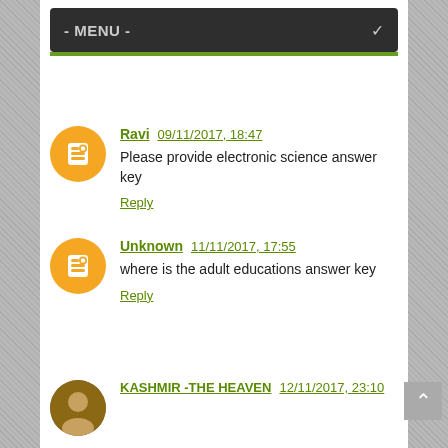- MENU -
Ravi 09/11/2017, 18:47
Please provide electronic science answer key
Reply
Unknown 11/11/2017, 17:55
where is the adult educations answer key
Reply
KASHMIR -THE HEAVEN 12/11/2017, 23:10